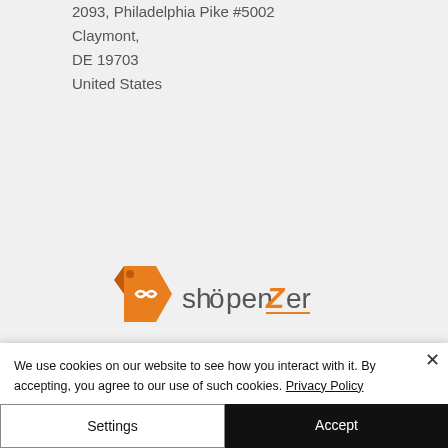2093, Philadelphia Pike #5002
Claymont,
DE 19703
United States
[Figure (logo): shöpenZer logo with orange price-tag icon and orange Z in the word mark]
We use cookies on our website to see how you interact with it. By accepting, you agree to our use of such cookies. Privacy Policy
Settings
Accept